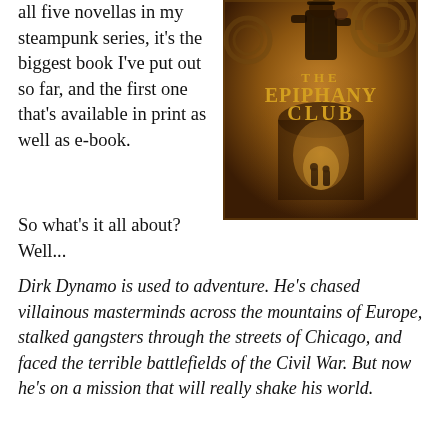all five novellas in my steampunk series, it's the biggest book I've put out so far, and the first one that's available in print as well as e-book.
[Figure (illustration): Book cover for 'The Epiphany Club' — a steampunk-styled cover with golden-brown tones, gears in the background, a figure in Victorian adventurer clothing at the top, and two silhouetted figures walking through a tunnel archway at the bottom. The title 'The Epiphany Club' is displayed in large ornate gold lettering.]
So what's it all about? Well...
Dirk Dynamo is used to adventure. He's chased villainous masterminds across the mountains of Europe, stalked gangsters through the streets of Chicago, and faced the terrible battlefields of the Civil War. But now he's on a mission that will really shake his world.